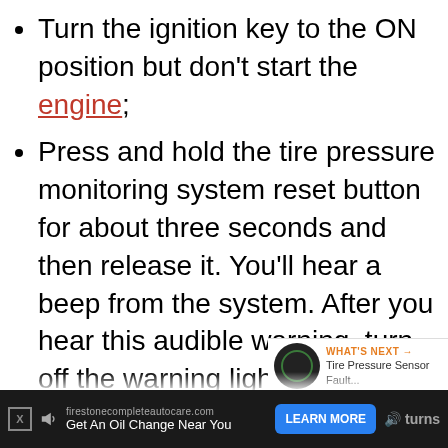Turn the ignition key to the ON position but don't start the engine;
Press and hold the tire pressure monitoring system reset button for about three seconds and then release it. You'll hear a beep from the system. After you hear this audible warning, turn off the warning light;
Start the engine and drive your car. Maintain a speed of not less than 19 miles per hour (mph) for about minutes to one hour. This will complete
firestonecompleteautocare.com Get An Oil Change Near You
LEARN MORE